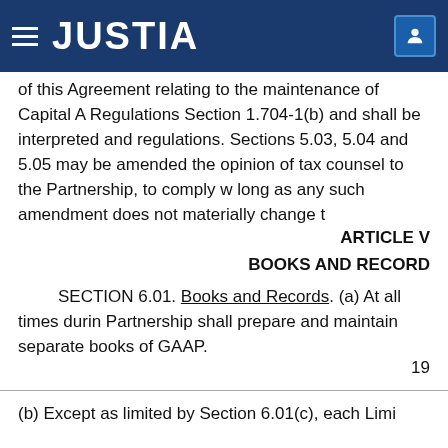JUSTIA
of this Agreement relating to the maintenance of Capital A Regulations Section 1.704-1(b) and shall be interpreted and regulations. Sections 5.03, 5.04 and 5.05 may be amended the opinion of tax counsel to the Partnership, to comply w long as any such amendment does not materially change t
ARTICLE V
BOOKS AND RECORD
SECTION 6.01. Books and Records. (a) At all times durin Partnership shall prepare and maintain separate books of GAAP.
19
(b) Except as limited by Section 6.01(c), each Limi